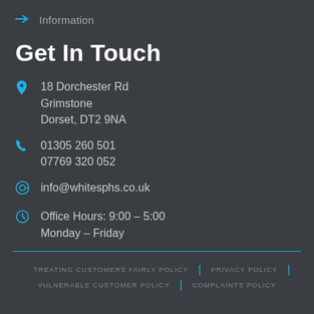Information
Get In Touch
18 Dorchester Rd
Grimstone
Dorset, DT2 9NA
01305 260 501
07769 320 052
info@whitesphs.co.uk
Office Hours: 9:00 – 5:00
Monday – Friday
TREATING CUSTOMERS FAIRLY POLICY | PRIVACY POLICY | VULNERABLE CUSTOMER POLICY | COMPLAINTS POLICY